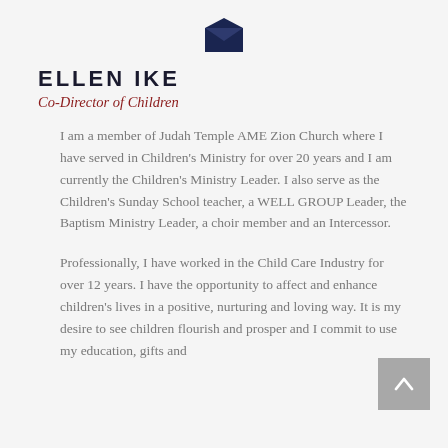[Figure (illustration): Dark navy blue envelope icon, centered at top of page]
ELLEN IKE
Co-Director of Children
I am a member of Judah Temple AME Zion Church where I have served in Children's Ministry for over 20 years and I am currently the Children's Ministry Leader. I also serve as the Children's Sunday School teacher, a WELL GROUP Leader, the Baptism Ministry Leader, a choir member and an Intercessor.
Professionally, I have worked in the Child Care Industry for over 12 years. I have the opportunity to affect and enhance children's lives in a positive, nurturing and loving way. It is my desire to see children flourish and prosper and I commit to use my education, gifts and